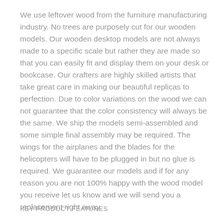We use leftover wood from the furniture manufacturing industry. No trees are purposely cut for our wooden models. Our wooden desktop models are not always made to a specific scale but rather they are made so that you can easily fit and display them on your desk or bookcase. Our crafters are highly skilled artists that take great care in making our beautiful replicas to perfection. Due to color variations on the wood we can not guarantee that the color consistency will always be the same. We ship the models semi-assembled and some simple final assembly may be required. The wings for the airplanes and the blades for the helicopters will have to be plugged in but no glue is required. We guarantee our models and if for any reason you are not 100% happy with the wood model you receive let us know and we will send you a replacement right away.
KEY PRODUCT FEATURES